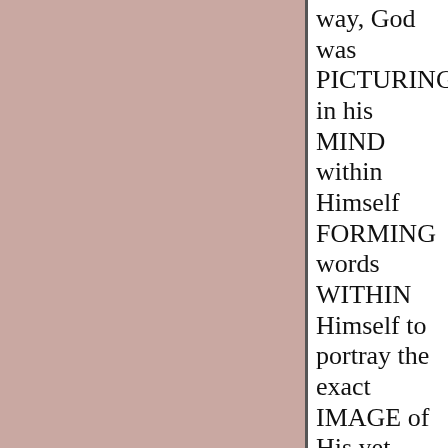[Figure (illustration): Large pink/mauve colored rectangle occupying the left two-thirds of the page]
way, God was PICTURING in his MIND within Himself FORMING words WITHIN Himself to portray the exact IMAGE of His yet future